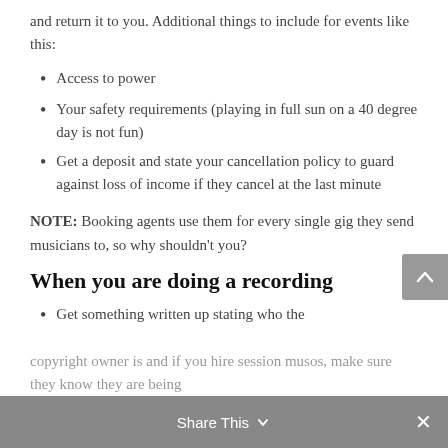and return it to you. Additional things to include for events like this:
Access to power
Your safety requirements (playing in full sun on a 40 degree day is not fun)
Get a deposit and state your cancellation policy to guard against loss of income if they cancel at the last minute
NOTE: Booking agents use them for every single gig they send musicians to, so why shouldn't you?
When you are doing a recording
Get something written up stating who the copyright owner is and if you hire session musos, make sure they know they are being